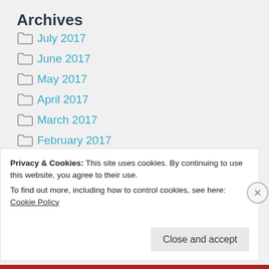Archives
July 2017
June 2017
May 2017
April 2017
March 2017
February 2017
January 2017
December 2016
Privacy & Cookies: This site uses cookies. By continuing to use this website, you agree to their use.
To find out more, including how to control cookies, see here: Cookie Policy